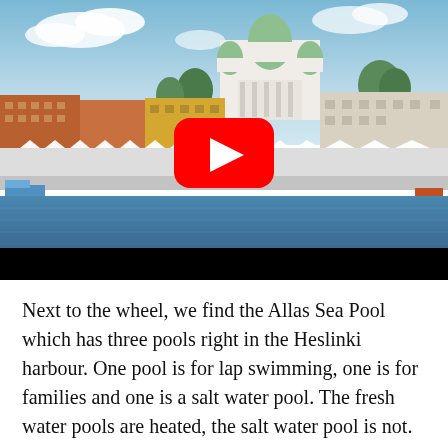[Figure (photo): Photograph of Helsinki harbour waterfront showing colorful historic buildings, white market tents along the waterfront, boats in the water, and Helsinki Cathedral with green domes in the background under a partly cloudy blue sky. A YouTube play button overlay (red rounded rectangle with white triangle) is centered over the image. A black bar appears at the bottom of the image frame.]
Next to the wheel, we find the Allas Sea Pool which has three pools right in the Heslinki harbour. One pool is for lap swimming, one is for families and one is a salt water pool. The fresh water pools are heated, the salt water pool is not. In addition to the pools, there are saunas and